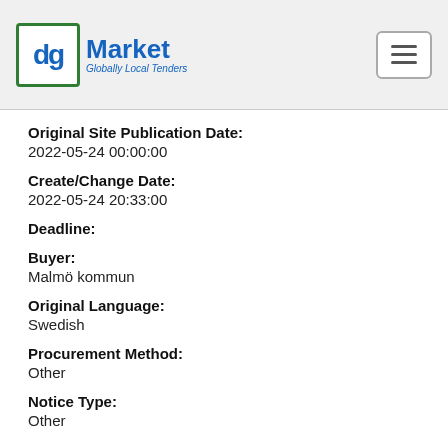[Figure (logo): dgMarket logo with 'Globally Local Tenders' tagline and hamburger menu icon]
Original Site Publication Date:
2022-05-24 00:00:00
Create/Change Date:
2022-05-24 20:33:00
Deadline:
Buyer:
Malmö kommun
Original Language:
Swedish
Procurement Method:
Other
Notice Type:
Other